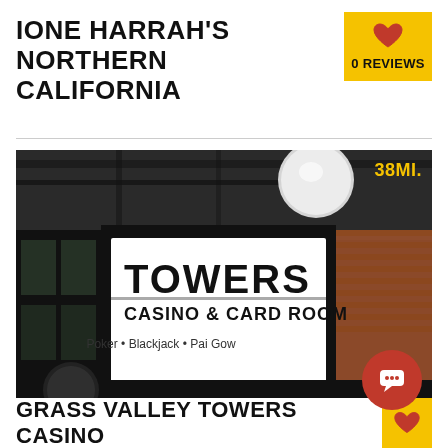IONE HARRAH'S NORTHERN CALIFORNIA
0 REVIEWS
[Figure (photo): Exterior photo of Towers Casino & Card Room showing a sign that reads 'TOWERS CASINO & CARD ROOM - Poker • Blackjack • Pai Gow', with a distance label of 38MI. in the top right corner]
GRASS VALLEY TOWERS CASINO